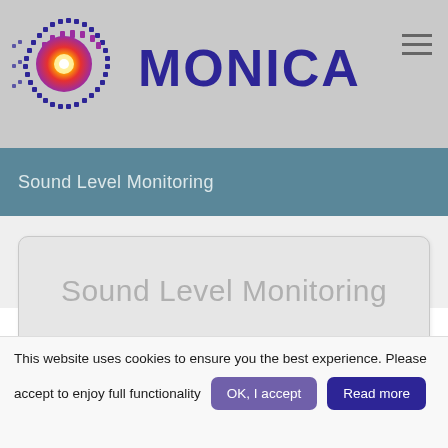[Figure (logo): MONICA project logo: circular pixel/dot pattern in blue, red, orange and pink colors surrounding a bright center, resembling a sound wave visualization or galaxy]
MONICA
Sound Level Monitoring
Sound Level Monitoring
This website uses cookies to ensure you the best experience. Please accept to enjoy full functionality
OK, I accept
Read more